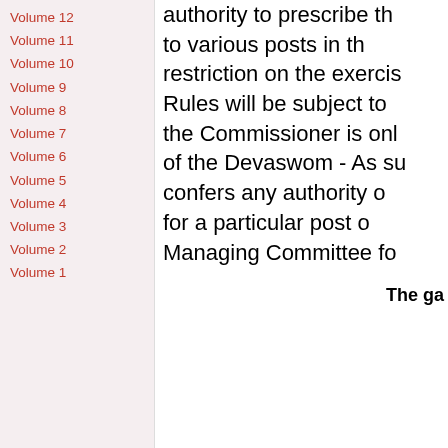Volume 12
Volume 11
Volume 10
Volume 9
Volume 8
Volume 7
Volume 6
Volume 5
Volume 4
Volume 3
Volume 2
Volume 1
authority to prescribe the qualifications to various posts in the Board, and the restriction on the exercise of powers of Rules will be subject to that restriction; the Commissioner is only the executive head of the Devaswom - As such, the statute confers any authority on the Commissioner for a particular post or office of the Managing Committee fo
The ga